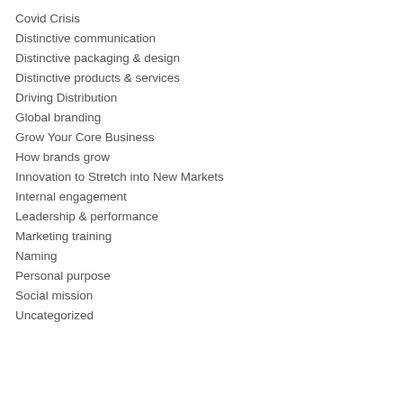Covid Crisis
Distinctive communication
Distinctive packaging & design
Distinctive products & services
Driving Distribution
Global branding
Grow Your Core Business
How brands grow
Innovation to Stretch into New Markets
Internal engagement
Leadership & performance
Marketing training
Naming
Personal purpose
Social mission
Uncategorized